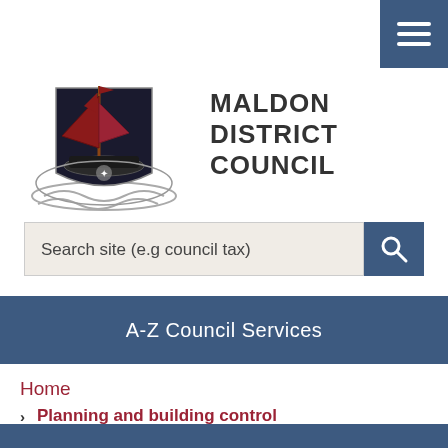[Figure (logo): Maldon District Council coat of arms logo featuring a red sailing barge, shield with waves, and decorative elements]
MALDON DISTRICT COUNCIL
Search site (e.g council tax)
A-Z Council Services
Home
Planning and building control
Development management
Planning Application 22/00344/FUL